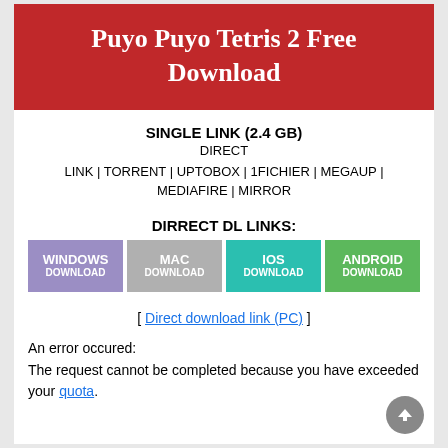Puyo Puyo Tetris 2 Free Download
SINGLE LINK (2.4 GB)
DIRECT
LINK | TORRENT | UPTOBOX | 1FICHIER | MEGAUP | MEDIAFIRE | MIRROR
DIRRECT DL LINKS:
[Figure (other): Four download buttons: WINDOWS DOWNLOAD (purple), MAC DOWNLOAD (gray), IOS DOWNLOAD (teal), ANDROID DOWNLOAD (green)]
[ Direct download link (PC) ]
An error occured:
The request cannot be completed because you have exceeded your quota.